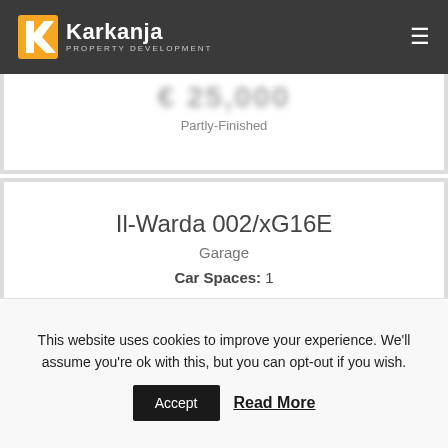Karkanja Property Development
€ 25,000 Partly-Finished
Il-Warda 002/xG16E
Garage
Car Spaces: 1
VIEW PROPERTY PLANS
GET IN TOUCH
This website uses cookies to improve your experience. We'll assume you're ok with this, but you can opt-out if you wish.
Accept
Read More